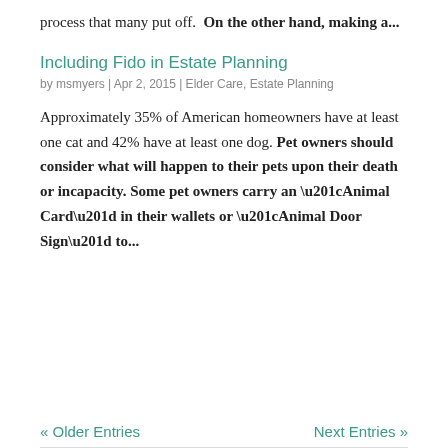process that many put off.  On the other hand, making a...
Including Fido in Estate Planning
by msmyers | Apr 2, 2015 | Elder Care, Estate Planning
Approximately 35% of American homeowners have at least one cat and 42% have at least one dog. Pet owners should consider what will happen to their pets upon their death or incapacity. Some pet owners carry an “Animal Card” in their wallets or “Animal Door Sign” to...
« Older Entries | Next Entries »